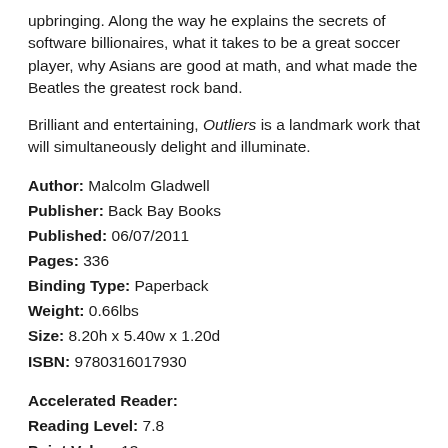upbringing. Along the way he explains the secrets of software billionaires, what it takes to be a great soccer player, why Asians are good at math, and what made the Beatles the greatest rock band.
Brilliant and entertaining, Outliers is a landmark work that will simultaneously delight and illuminate.
Author: Malcolm Gladwell
Publisher: Back Bay Books
Published: 06/07/2011
Pages: 336
Binding Type: Paperback
Weight: 0.66lbs
Size: 8.20h x 5.40w x 1.20d
ISBN: 9780316017930
Accelerated Reader:
Reading Level: 7.8
Point Value: 13